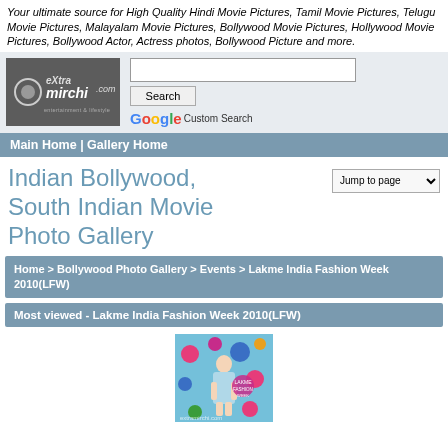Your ultimate source for High Quality Hindi Movie Pictures, Tamil Movie Pictures, Telugu Movie Pictures, Malayalam Movie Pictures, Bollywood Movie Pictures, Hollywood Movie Pictures, Bollywood Actor, Actress photos, Bollywood Picture and more.
[Figure (logo): eXtra mirchi .com entertainment & lifestyle logo with camera icon on dark grey background]
Search button and Google Custom Search box
Main Home | Gallery Home
Indian Bollywood, South Indian Movie Photo Gallery
Jump to page dropdown
Home > Bollywood Photo Gallery > Events > Lakme India Fashion Week 2010(LFW)
Most viewed - Lakme India Fashion Week 2010(LFW)
[Figure (photo): Photo of a woman in a light blue dress at Lakme India Fashion Week 2010 event, standing in front of colorful dot-patterned backdrop with Lakme branding]